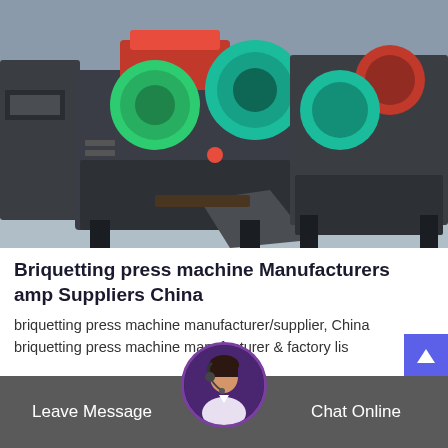[Figure (photo): Industrial briquetting press machines in a factory/warehouse setting. Dark gray heavy machines with green and teal colored rollers/components, red hopper on top. Multiple machines visible in background.]
Briquetting press machine Manufacturers amp Suppliers China
briquetting press machine manufacturer/supplier, China briquetting press machine manufacturer & factory lis
Leave Message   Chat Online